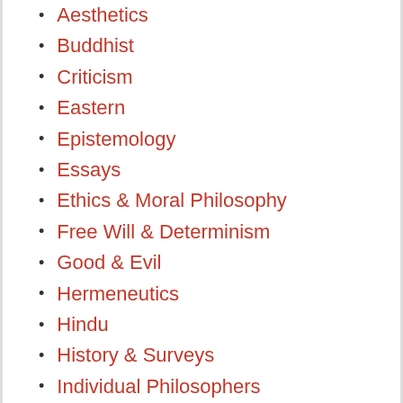Aesthetics
Buddhist
Criticism
Eastern
Epistemology
Essays
Ethics & Moral Philosophy
Free Will & Determinism
Good & Evil
Hermeneutics
Hindu
History & Surveys
Individual Philosophers
Language
Logic
Metaphysics
Methodology
Mind & Body